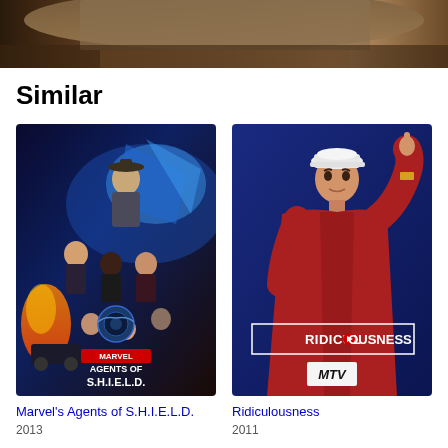[Figure (photo): Partial image of a person wearing a hat, cropped at the top of the page, brown/warm tones]
Similar
[Figure (photo): Marvel's Agents of S.H.I.E.L.D. TV show poster showing multiple characters with sci-fi blue lighting and the Marvel logo]
[Figure (photo): Ridiculousness MTV show poster showing a man in a red hoodie and white cap pointing upward against a blue background with the Ridiculousness MTV logo]
Marvel's Agents of S.H.I.E.L.D.
2013
Ridiculousness
2011